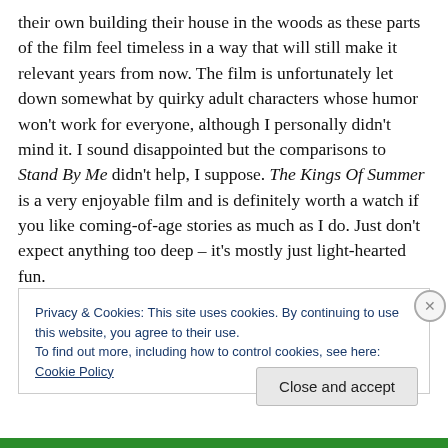their own building their house in the woods as these parts of the film feel timeless in a way that will still make it relevant years from now. The film is unfortunately let down somewhat by quirky adult characters whose humor won't work for everyone, although I personally didn't mind it. I sound disappointed but the comparisons to Stand By Me didn't help, I suppose. The Kings Of Summer is a very enjoyable film and is definitely worth a watch if you like coming-of-age stories as much as I do. Just don't expect anything too deep – it's mostly just light-hearted fun.
Privacy & Cookies: This site uses cookies. By continuing to use this website, you agree to their use.
To find out more, including how to control cookies, see here: Cookie Policy
Close and accept